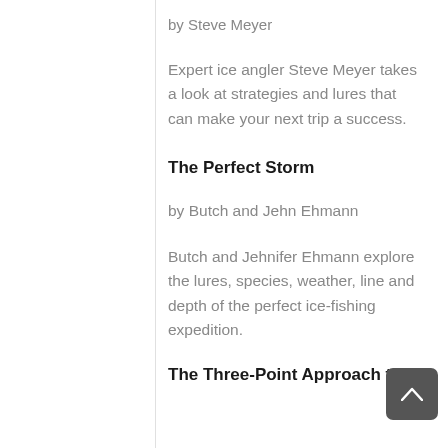by Steve Meyer
Expert ice angler Steve Meyer takes a look at strategies and lures that can make your next trip a success.
The Perfect Storm
by Butch and Jehn Ehmann
Butch and Jehnifer Ehmann explore the lures, species, weather, line and depth of the perfect ice-fishing expedition.
The Three-Point Approach to